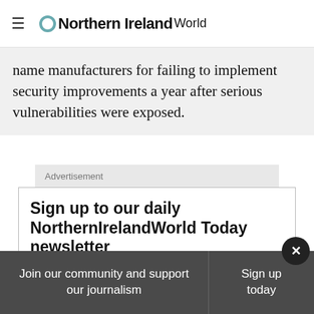Northern Ireland World
name manufacturers for failing to implement security improvements a year after serious vulnerabilities were exposed.
Advertisement
Sign up to our daily NorthernIrelandWorld Today newsletter
Enter your email
Join our community and support our journalism
Sign up today